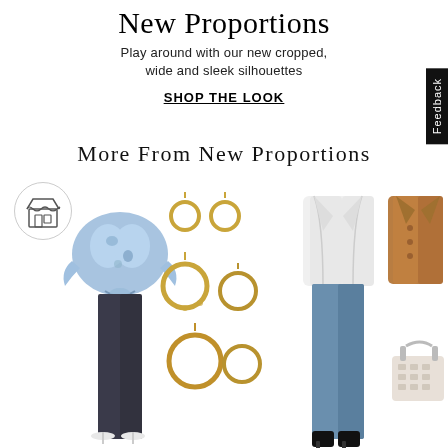New Proportions
Play around with our new cropped, wide and sleek silhouettes
SHOP THE LOOK
More From New Proportions
[Figure (photo): Fashion product collage showing: blue floral ruffled blouse with dark wide-leg trousers and white heeled sandals; gold hoop earrings set (3 pairs); white blazer jacket with blue slim jeans and black ankle boots; camel/tan double-breasted blazer with patterned tote bag.]